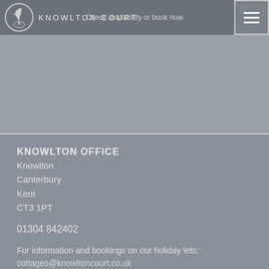KNOWLTON COURT — Check availability or book now
[Figure (photo): Gray placeholder image area for Knowlton Court website]
KNOWLTON OFFICE
Knowlton
Canterbury
Kent
CT3 1PT
01304 842402
For information and bookings on our holiday lets: cottages@knowltoncourt.co.uk